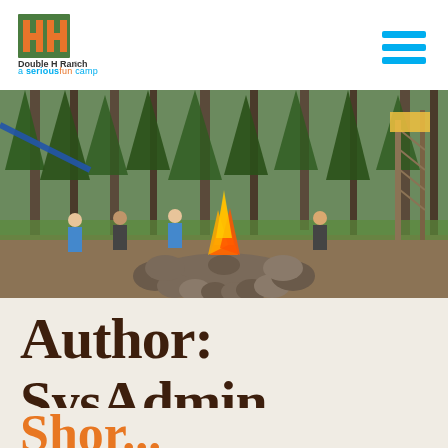Double H Ranch — a seriousfun camp
[Figure (photo): Outdoor camp scene in a forest with tall pine trees. A campfire with large stones in the foreground burns brightly. Children and counselors are visible in the background near ropes course equipment.]
Author: SysAdmin
Shor...